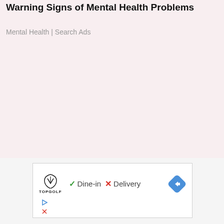Warning Signs of Mental Health Problems
Mental Health | Search Ads
[Figure (screenshot): Advertisement box showing Topgolf logo with Dine-in (green checkmark) and Delivery (red X) options, a blue diamond navigation icon, and two small icon rows below]